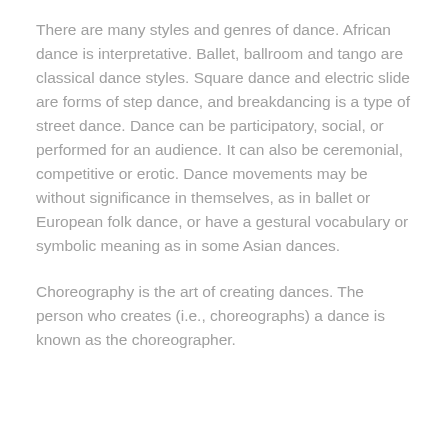There are many styles and genres of dance. African dance is interpretative. Ballet, ballroom and tango are classical dance styles. Square dance and electric slide are forms of step dance, and breakdancing is a type of street dance. Dance can be participatory, social, or performed for an audience. It can also be ceremonial, competitive or erotic. Dance movements may be without significance in themselves, as in ballet or European folk dance, or have a gestural vocabulary or symbolic meaning as in some Asian dances.
Choreography is the art of creating dances. The person who creates (i.e., choreographs) a dance is known as the choreographer.